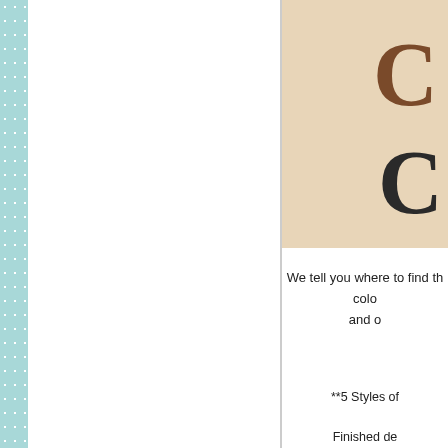[Figure (photo): Partial view of a decorative craft or monogram item on a tan/beige background, showing partial letter shapes in brown and dark colors, possibly cookies or wood cutouts shaped like the letter C]
We tell you where to find the colors and
**5 Styles of
Finished de